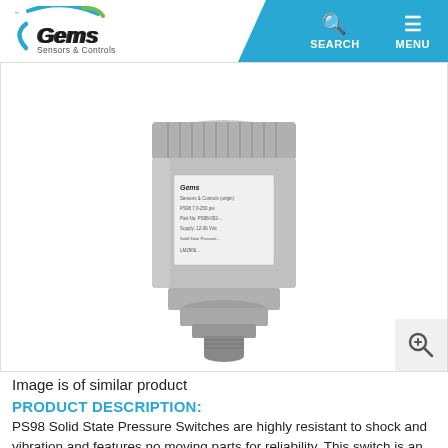[Figure (logo): Gems Sensors & Controls logo with teal swoosh]
[Figure (photo): PS98 Solid State Pressure Switch product photo - cylindrical stainless steel sensor with threaded port, Gems label visible on side]
Image is of similar product
PRODUCT DESCRIPTION:
PS98 Solid State Pressure Switches are highly resistant to shock and vibration and features no moving parts for reliability. This switch is an ideal alternative to electromechanical types when cycles exceed 50 cycles/minute and broad frequency response is needed. In addition to a modular design, a host of pressure ports